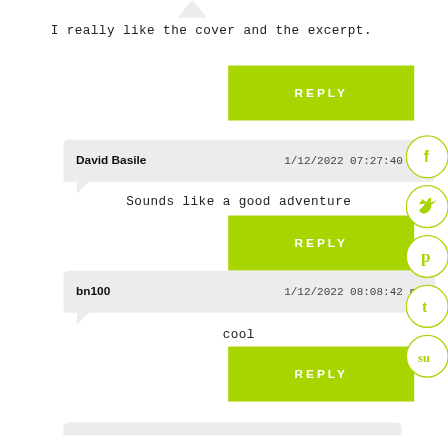I really like the cover and the excerpt.
REPLY
David Basile    1/12/2022 07:27:40 pm
Sounds like a good adventure
REPLY
bn100    1/12/2022 08:08:42 pm
cool
REPLY